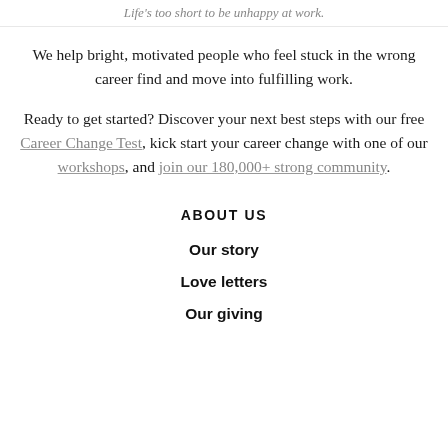Life's too short to be unhappy at work.
We help bright, motivated people who feel stuck in the wrong career find and move into fulfilling work.
Ready to get started? Discover your next best steps with our free Career Change Test, kick start your career change with one of our workshops, and join our 180,000+ strong community.
ABOUT US
Our story
Love letters
Our giving